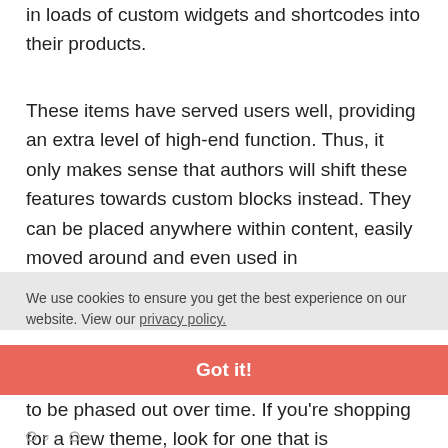in loads of custom widgets and shortcodes into their products.
These items have served users well, providing an extra level of high-end function. Thus, it only makes sense that authors will shift these features towards custom blocks instead. They can be placed anywhere within content, easily moved around and even used in
We use cookies to ensure you get the best experience on our website. View our privacy policy.
Got it!
to be phased out over time. If you're shopping for a new theme, look for one that is embracing blocks over legacy solutions.
icons row